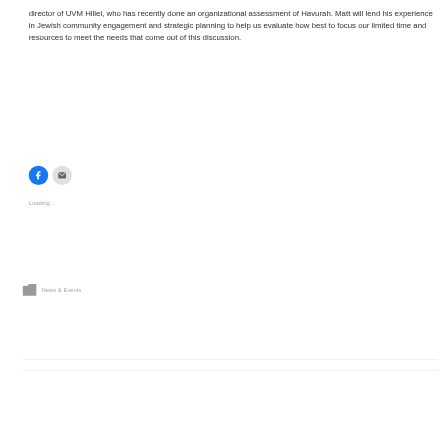director of UVM Hillel, who has recently done an organizational assessment of Havurah. Matt will lend his experience in Jewish community engagement and strategic planning to help us evaluate how best to focus our limited time and resources to meet the needs that come out of this discussion.
[Figure (infographic): Two circular social sharing buttons: a blue Facebook icon button and a grey email/envelope icon button]
Loading...
News & Events